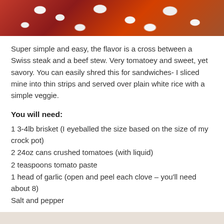[Figure (photo): Top portion of a food photo showing red dish with white items (popcorn or similar), partially visible at top of page]
Super simple and easy, the flavor is a cross between a Swiss steak and a beef stew. Very tomatoey and sweet, yet savory. You can easily shred this for sandwiches- I sliced mine into thin strips and served over plain white rice with a simple veggie.
You will need:
1 3-4lb brisket (I eyeballed the size based on the size of my crock pot)
2 24oz cans crushed tomatoes (with liquid)
2 teaspoons tomato paste
1 head of garlic (open and peel each clove – you'll need about 8)
Salt and pepper